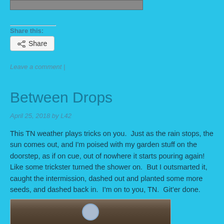[Figure (photo): Partial photo at top of page, cropped]
Share this:
Share
Leave a comment |
Between Drops
April 25, 2018 by L42
This TN weather plays tricks on you.  Just as the rain stops, the sun comes out, and I'm poised with my garden stuff on the doorstep, as if on cue, out of nowhere it starts pouring again!  Like some trickster turned the shower on.  But I outsmarted it, caught the intermission, dashed out and planted some more seeds, and dashed back in.  I'm on to you, TN.  Git'er done.
[Figure (photo): Photo at bottom of page, partially visible, appears to show a plant or garden scene]